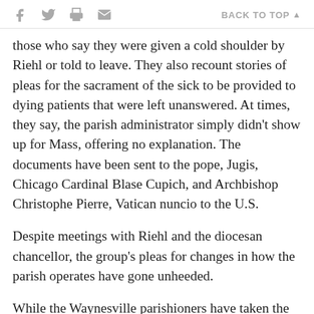f [twitter] [print] [email]   BACK TO TOP ▲
those who say they were given a cold shoulder by Riehl or told to leave. They also recount stories of pleas for the sacrament of the sick to be provided to dying patients that were left unanswered. At times, they say, the parish administrator simply didn't show up for Mass, offering no explanation. The documents have been sent to the pope, Jugis, Chicago Cardinal Blase Cupich, and Archbishop Christophe Pierre, Vatican nuncio to the U.S.
Despite meetings with Riehl and the diocesan chancellor, the group's pleas for changes in how the parish operates have gone unheeded.
While the Waynesville parishioners have taken the most drastic actions, it is just one example of a pattern in the Charlotte diocese. Parishes in the mountainous rural western part of the diocese, as well